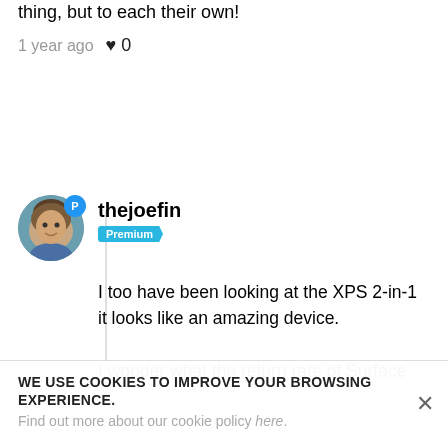thing, but to each their own!
1 year ago  ♥ 0
thejoefin
Premium
I too have been looking at the XPS 2-in-1 it looks like an amazing device.

I wonder what the return rate of Surface devices is. Since they try to push the boundaries of traditional PCs do many people try, then return them because the all in one tablet PC just doesn't deliver a good enough
WE USE COOKIES TO IMPROVE YOUR BROWSING EXPERIENCE.
Find out more about our cookie policy here.